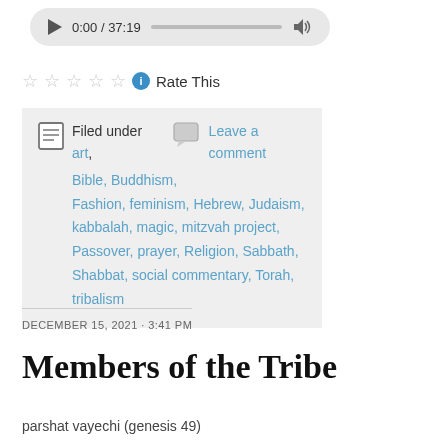[Figure (other): Audio player with play button, time 0:00 / 37:19, progress bar, and volume icon]
☆☆☆☆☆ ⓘ Rate This
Filed under art,   Leave a comment
Bible, Buddhism,
Fashion, feminism, Hebrew, Judaism,
kabbalah, magic, mitzvah project,
Passover, prayer, Religion, Sabbath,
Shabbat, social commentary, Torah,
tribalism
DECEMBER 15, 2021 · 3:41 PM
Members of the Tribe
parshat vayechi (genesis 49)